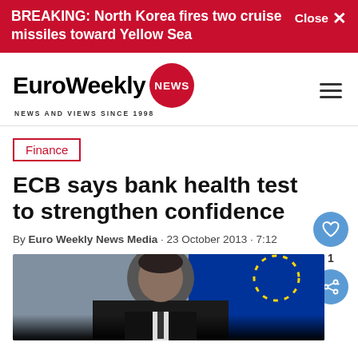BREAKING: North Korea fires two cruise missiles toward Yellow Sea   Close ✕
[Figure (logo): EuroWeekly NEWS logo with red circle badge. Tagline: NEWS AND VIEWS SINCE 1998]
Finance
ECB says bank health test to strengthen confidence
By Euro Weekly News Media · 23 October 2013 · 7:12
[Figure (photo): Photo of a man in a dark suit in front of a blue EU flag with gold stars and ECB logo. Bottom portion fades to black.]